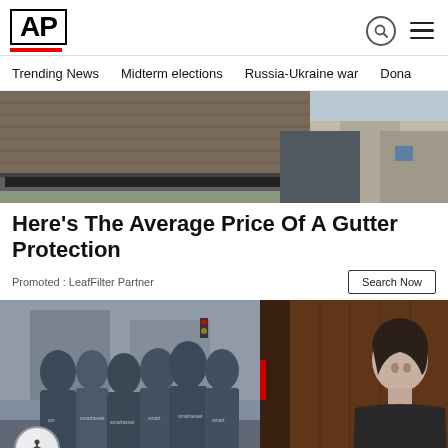AP
Trending News  Midterm elections  Russia-Ukraine war  Dona
[Figure (photo): Person cleaning or working on roof gutters, close-up of hands and gutter system with roofing tiles visible]
Here's The Average Price Of A Gutter Protection
Promoted : LeafFilter Partner
[Figure (photo): Group of people in 'smartasset' branded t-shirts standing on a city street]
[Figure (photo): Video overlay showing a woman in a dark outfit against a brown background, with a red progress bar and X close button]